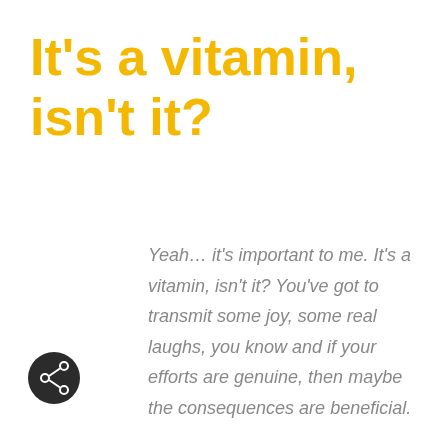It's a vitamin, isn't it?
Yeah… it's important to me. It's a vitamin, isn't it? You've got to transmit some joy, some real laughs, you know and if your efforts are genuine, then maybe the consequences are beneficial.
[Figure (illustration): Dark circular share/social button with a share icon (arrow branching into three circles) in white]